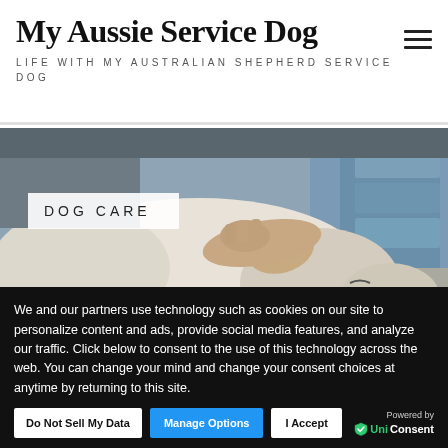My Aussie Service Dog
LIFE WITH MY AUSTRALIAN SHEPHERD SERVICE DOG
[Figure (photo): A white dog lying on a table being petted by a person's hand, appearing to be at a veterinary clinic. A banner overlay reads 'DOG CARE'.]
We and our partners use technology such as cookies on our site to personalize content and ads, provide social media features, and analyze our traffic. Click below to consent to the use of this technology across the web. You can change your mind and change your consent choices at anytime by returning to this site.
Do Not Sell My Data | Manage Options | I Accept | Powered by UniConsent